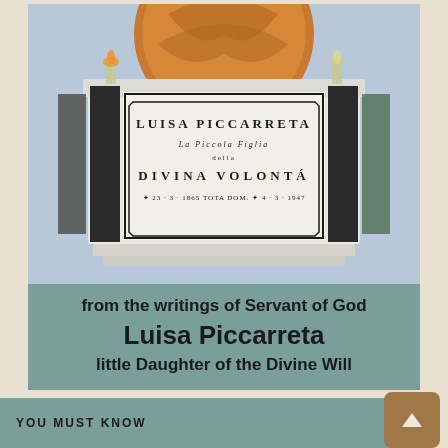[Figure (photo): Photograph of the tomb/altar of Luisa Piccarreta, a white marble structure with inscriptions reading: LUISA PICCARRETA, La Piccola Figlia della Divina Volontá, with birth and death dates. Decorated with candles and a golden circular relief behind.]
from the writings of Servant of God
Luisa Piccarreta
little Daughter of the Divine Will
YOU MUST KNOW